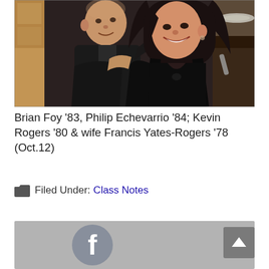[Figure (photo): Two people posing together indoors, smiling at the camera. One person on the left wearing dark clothing, one person on the right wearing a dark dress with long dark hair.]
Brian Foy '83, Philip Echevarrio '84; Kevin Rogers '80 & wife Francis Yates-Rogers '78 (Oct.12)
Filed Under: Class Notes
[Figure (screenshot): Facebook share button/widget area with Facebook logo icon on grey background, and a back-to-top arrow button on the right.]